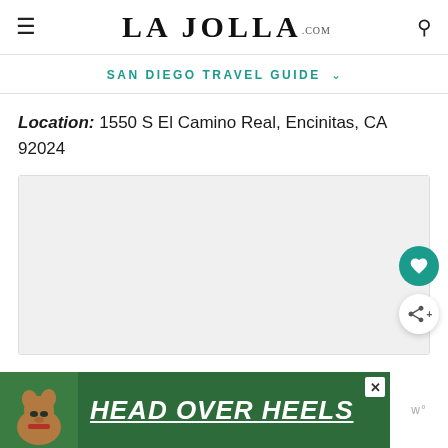LA JOLLA.com
SAN DIEGO TRAVEL GUIDE
Location: 1550 S El Camino Real, Encinitas, CA 92024
[Figure (map): Embedded map placeholder showing location area, light grey background]
[Figure (photo): Advertisement banner: HEAD OVER HEELS with dog photo on green background]